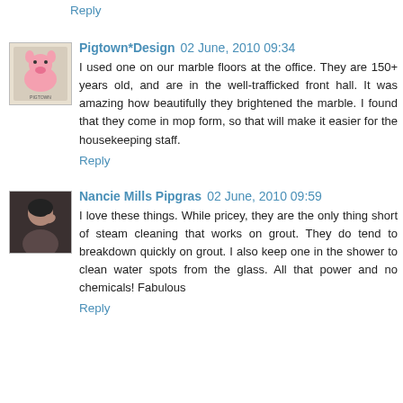Reply
Pigtown*Design  02 June, 2010 09:34
I used one on our marble floors at the office. They are 150+ years old, and are in the well-trafficked front hall. It was amazing how beautifully they brightened the marble. I found that they come in mop form, so that will make it easier for the housekeeping staff.
Reply
Nancie Mills Pipgras  02 June, 2010 09:59
I love these things. While pricey, they are the only thing short of steam cleaning that works on grout. They do tend to breakdown quickly on grout. I also keep one in the shower to clean water spots from the glass. All that power and no chemicals! Fabulous
Reply